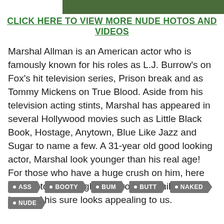[Figure (photo): Partial image strip at the top of the page showing foliage/greenery background]
CLICK HERE TO VIEW MORE NUDE HOTOS AND VIDEOS
Marshal Allman is an American actor who is famously known for his roles as L.J. Burrow's on Fox's hit television series, Prison break and as Tommy Mickens on True Blood. Aside from his television acting stints, Marshal has appeared in several Hollywood movies such as Little Black Book, Hostage, Anytown, Blue Like Jazz and Sugar to name a few. A 31-year old good looking actor, Marshal look younger than his real age! For those who have a huge crush on him, here are photos that might give you the smile. That booty of his sure looks appealing to us.
ASS
BOOTY
BUM
BUTT
NAKED
NUDE